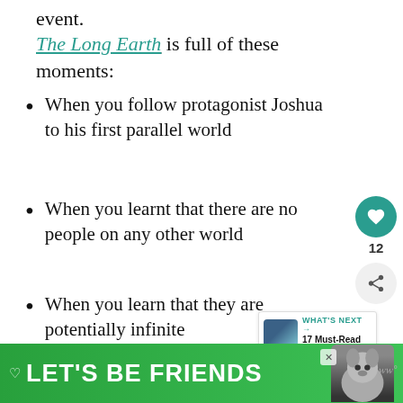event.
The Long Earth is full of these moments:
When you follow protagonist Joshua to his first parallel world
When you learnt that there are no people on any other world
When you learn that they are potentially infinite
When you learn of a strange human-like
[Figure (other): Advertisement banner: green background with text LET'S BE FRIENDS and a husky dog image]
[Figure (other): Social interaction panel with heart button showing 12 likes and a share button]
[Figure (other): What's Next panel showing 17 Must-Read Korean Nov...]